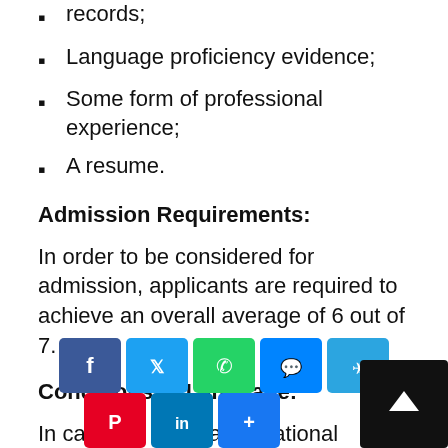records;
Language proficiency evidence;
Some form of professional experience;
A resume.
Admission Requirements:
In order to be considered for admission, applicants are required to achieve an overall average of 6 out of 7.
Conditions of Language:
In case the applicant's national language is not English, the [applicant] should check the university's [English] language requirement